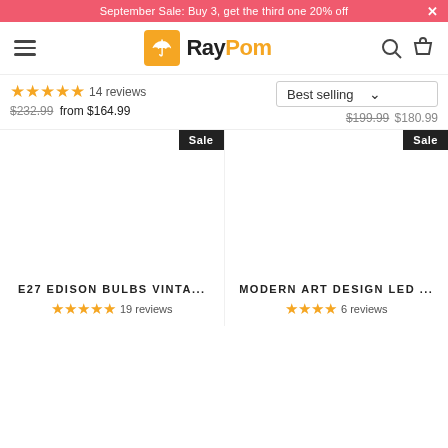September Sale: Buy 3, get the third one 20% off
[Figure (logo): RayPom logo with orange umbrella icon]
14 reviews
$232.99 from $164.99
Best selling
$199.99 $180.99
Sale
Sale
E27 EDISON BULBS VINTA...
19 reviews
MODERN ART DESIGN LED ...
6 reviews